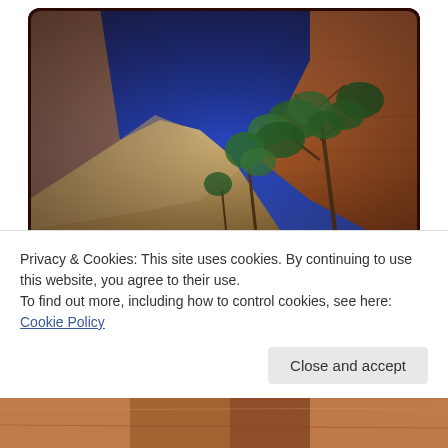[Figure (photo): Outdoor landscape photograph showing red sandstone rock formations, green juniper trees, and a deep blue sky, viewed from below looking upward. The photo has a dark rounded-corner border/vignette effect.]
Privacy & Cookies: This site uses cookies. By continuing to use this website, you agree to their use.
To find out more, including how to control cookies, see here: Cookie Policy
Close and accept